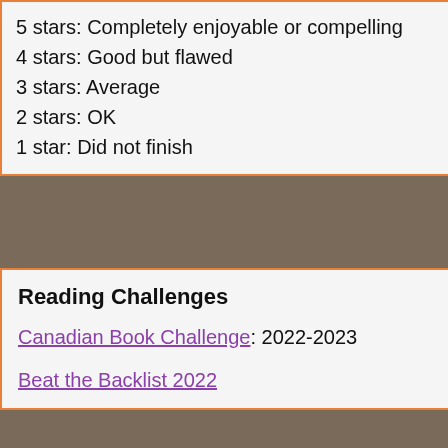5 stars: Completely enjoyable or compelling
4 stars: Good but flawed
3 stars: Average
2 stars: OK
1 star: Did not finish
Reading Challenges
Canadian Book Challenge: 2022-2023
Beat the Backlist 2022
[Figure (infographic): Road Narrative Spectrum Chart - a honeycomb/hexagonal chart showing different road narrative types including Utopia Maze, Utopia Labyrinth, Utopia Offroad, Utopia Blue Hwy. Purple overlay box in center with title text. Hexagonal cells in green, purple, and blue arranged in rows.]
| Field | Input |
| --- | --- |
| Name: |  |
| Email (won't be posted): |  |
| Blog URL: |  |
| Comment: |  |
Submit
[Figure (infographic): Social media icons: Twitter bird icon (blue), Tumblr dark navy box with italic t, circular blue button icon]
1997-2022 Sarah Sammis